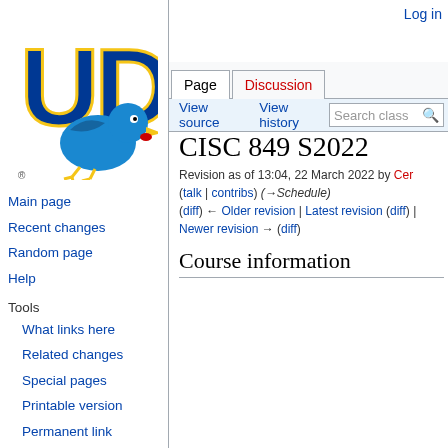[Figure (logo): University of Delaware blue hen logo with UD letters]
Main page
Recent changes
Random page
Help
Tools
What links here
Related changes
Special pages
Printable version
Permanent link
Page information
Log in
CISC 849 S2022
Revision as of 13:04, 22 March 2022 by Cer (talk | contribs) (→Schedule)
(diff) ← Older revision | Latest revision (diff) | Newer revision → (diff)
Course information
| Description |  |
| --- | --- |
| Description | CISC 849 -- Ethical Issues in...

An examination of issues rai... robotic and artificially intellig... both their designers/creators... will briefly cover the history a... review philosophica... guidelines for engineers, anc... |